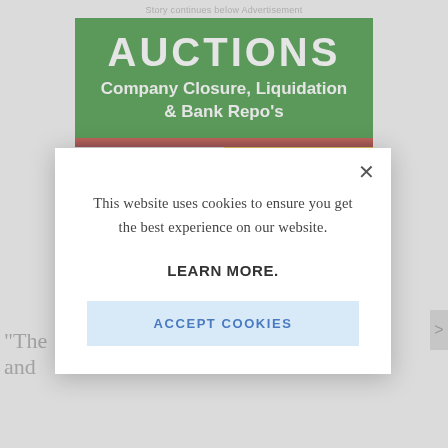Story continues below Advertisement
[Figure (illustration): Green advertisement banner for auctions — Company Closure, Liquidation & Bank Repo's]
“The and
This website uses cookies to ensure you get the best experience on our website.
LEARN MORE.
ACCEPT COOKIES